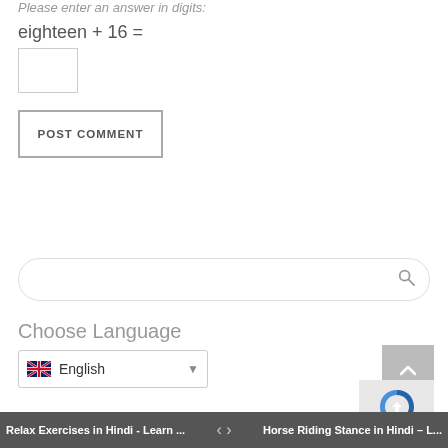Please enter an answer in digits:
POST COMMENT
[Figure (screenshot): Search bar with rounded border and search icon on the right]
Choose Language
English (dropdown with UK flag)
Relax Exercises in Hindi - Learn ...   < >   Horse Riding Stance in Hindi – L...